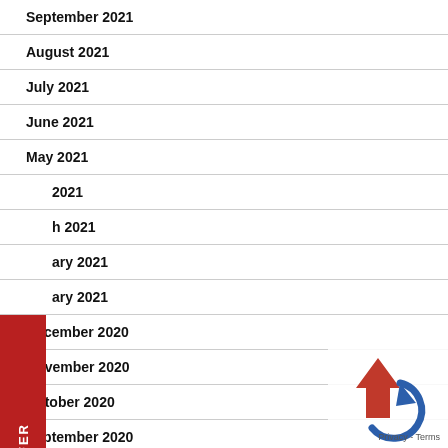September 2021
August 2021
July 2021
June 2021
May 2021
April 2021
March 2021
February 2021
January 2021
December 2020
November 2020
October 2020
September 2020
[Figure (logo): Red upward arrow with blue recycling arrow overlay icon, with Privacy and Terms text]